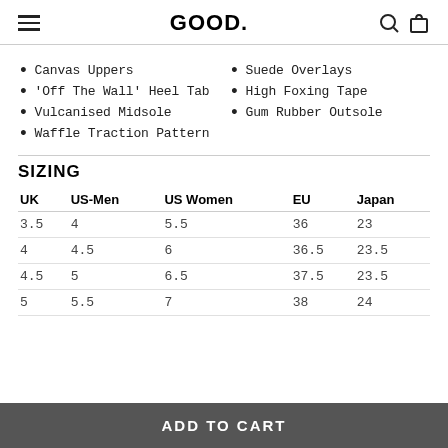GOOD.
Canvas Uppers
Suede Overlays
'Off The Wall' Heel Tab
High Foxing Tape
Vulcanised Midsole
Gum Rubber Outsole
Waffle Traction Pattern
SIZING
| UK | US-Men | US Women | EU | Japan |
| --- | --- | --- | --- | --- |
| 3.5 | 4 | 5.5 | 36 | 23 |
| 4 | 4.5 | 6 | 36.5 | 23.5 |
| 4.5 | 5 | 6.5 | 37.5 | 23.5 |
| 5 | 5.5 | 7 | 38 | 24 |
ADD TO CART